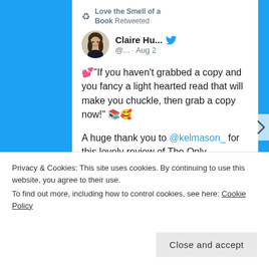[Figure (screenshot): Twitter/social media screenshot showing a retweet from 'Love the Smell of a Book' of a tweet by Claire Hu... (@...) dated Aug 2, with text about grabbing a copy of a book, followed by a thank you message to @kelmason_ for a review of The Only Exception. Below is a cookie consent banner with a Close and accept button.]
Love the Smell of a Book Retweeted
Claire Hu... @... · Aug 2
💕"If you haven't grabbed a copy and you fancy a light hearted read that will make you chuckle, then grab a copy now!" 📚🥰
A huge thank you to @kelmason_ for this lovely review of The Only Exception 💕😊
Privacy & Cookies: This site uses cookies. By continuing to use this website, you agree to their use.
To find out more, including how to control cookies, see here: Cookie Policy
Close and accept